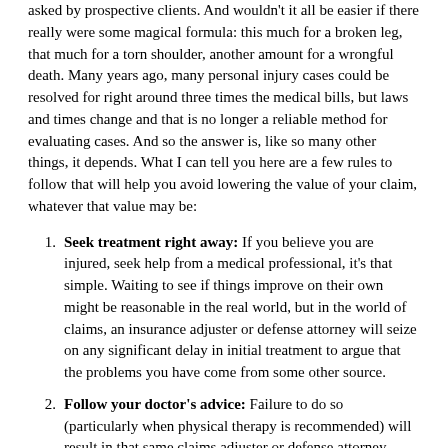asked by prospective clients. And wouldn't it all be easier if there really were some magical formula: this much for a broken leg, that much for a torn shoulder, another amount for a wrongful death. Many years ago, many personal injury cases could be resolved for right around three times the medical bills, but laws and times change and that is no longer a reliable method for evaluating cases. And so the answer is, like so many other things, it depends. What I can tell you here are a few rules to follow that will help you avoid lowering the value of your claim, whatever that value may be:
Seek treatment right away: If you believe you are injured, seek help from a medical professional, it's that simple. Waiting to see if things improve on their own might be reasonable in the real world, but in the world of claims, an insurance adjuster or defense attorney will seize on any significant delay in initial treatment to argue that the problems you have come from some other source.
Follow your doctor's advice: Failure to do so (particularly when physical therapy is recommended) will result in that same claims adjuster or defense attorney arguing either